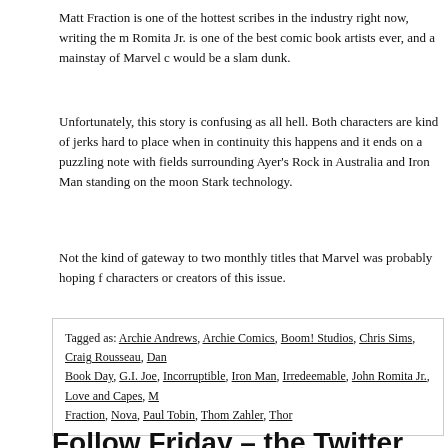Matt Fraction is one of the hottest scribes in the industry right now, writing the m... Romita Jr. is one of the best comic book artists ever, and a mainstay of Marvel c... would be a slam dunk.
Unfortunately, this story is confusing as all hell. Both characters are kind of jerks... hard to place when in continuity this happens and it ends on a puzzling note with... fields surrounding Ayer's Rock in Australia and Iron Man standing on the moon... Stark technology.
Not the kind of gateway to two monthly titles that Marvel was probably hoping f... characters or creators of this issue.
Tagged as: Archie Andrews, Archie Comics, Boom! Studios, Chris Sims, Craig Rousseau, Dan... Book Day, G.I. Joe, Incorruptible, Iron Man, Irredeemable, John Romita Jr., Love and Capes, M... Fraction, Nova, Paul Tobin, Thom Zahler, Thor
Follow Friday – the Twitter Bullpen
[Figure (other): Comic book advertisement with yellow background showing bold text: ITEM! You begged for it — you pleaded for it — at times, you even demanded it! And now, at last, it's back — bigger and better than ever! That's SAVAGE TALES, perhaps the most clamorously-requested, giant-size, magazine, of all!]
Growing up I was f... Age collection of co... up relatively cheap... the 1980s.

As a result I've bee... Comics Obviousl...